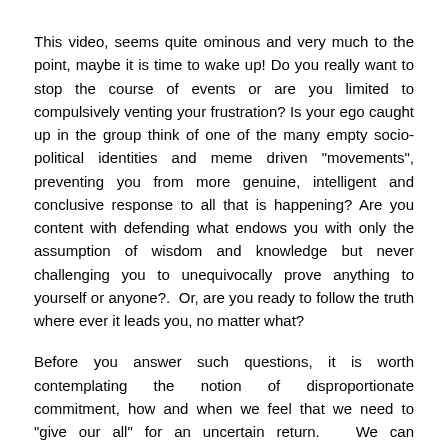This video, seems quite ominous and very much to the point, maybe it is time to wake up! Do you really want to stop the course of events or are you limited to compulsively venting your frustration? Is your ego caught up in the group think of one of the many empty socio-political identities and meme driven "movements", preventing you from more genuine, intelligent and conclusive response to all that is happening? Are you content with defending what endows you with only the assumption of wisdom and knowledge but never challenging you to unequivocally prove anything to yourself or anyone?.  Or, are you ready to follow the truth where ever it leads you, no matter what?
Before you answer such questions, it is worth contemplating the notion of disproportionate commitment, how and when we feel that we need to "give our all" for an uncertain return.  We can understand such commitment with things we love unconditionally like achieving mastery and excellence in our chosen vocations or defending our and our loved ones' lives.  But what about when disproportionate commitment arises as